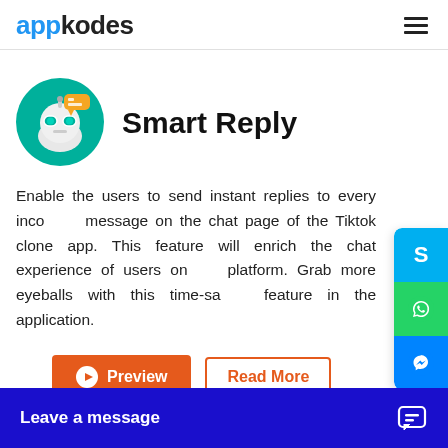appkodes
[Figure (logo): appkodes logo with hamburger menu icon]
[Figure (illustration): Robot/AI avatar icon with glasses and chat bubble on teal circular background, representing Smart Reply feature]
Smart Reply
Enable the users to send instant replies to every incoming message on the chat page of the Tiktok clone app. This feature will enrich the chat experience of users on the platform. Grab more eyeballs with this time-saving feature in the application.
Preview
Read More
[Figure (illustration): Floating social media icons: Skype (blue S), WhatsApp (green phone), Messenger (blue lightning bolt)]
Leave a message